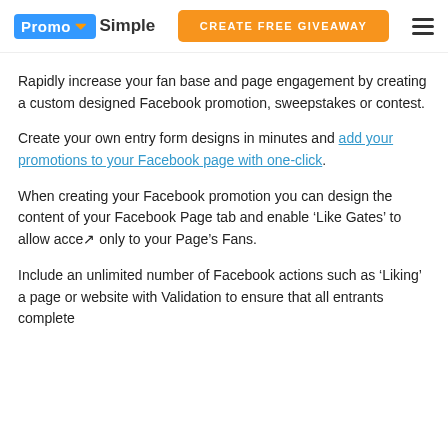PromoSimple | CREATE FREE GIVEAWAY
Rapidly increase your fan base and page engagement by creating a custom designed Facebook promotion, sweepstakes or contest.
Create your own entry form designs in minutes and add your promotions to your Facebook page with one-click.
When creating your Facebook promotion you can design the content of your Facebook Page tab and enable ‘Like Gates’ to allow access only to your Page’s Fans.
Include an unlimited number of Facebook actions such as ‘Liking’ a page or website with Validation to ensure that all entrants complete